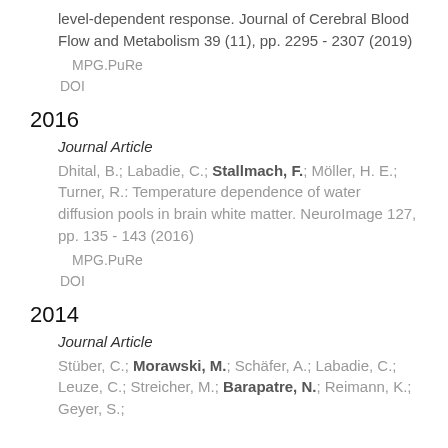level-dependent response. Journal of Cerebral Blood Flow and Metabolism 39 (11), pp. 2295 - 2307 (2019)
MPG.PuRe
DOI
2016
Journal Article
Dhital, B.; Labadie, C.; Stallmach, F.; Möller, H. E.; Turner, R.: Temperature dependence of water diffusion pools in brain white matter. NeuroImage 127, pp. 135 - 143 (2016)
MPG.PuRe
DOI
2014
Journal Article
Stüber, C.; Morawski, M.; Schäfer, A.; Labadie, C.; Leuze, C.; Streicher, M.; Barapatre, N.; Reimann, K.; Geyer, S.;